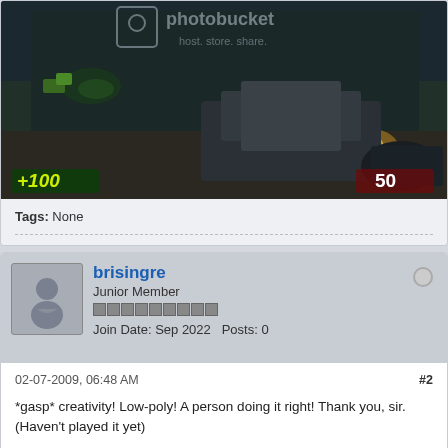[Figure (screenshot): Video game screenshot showing a dark sci-fi environment with a weapon visible, HUD showing +100 on the left and 50 on the right, with a Photobucket watermark overlay]
Tags: None
brisingre
Junior Member
Join Date: Sep 2022   Posts: 0
02-07-2009, 06:48 AM
#2
*gasp* creativity! Low-poly! A person doing it right! Thank you, sir.
(Haven't played it yet)